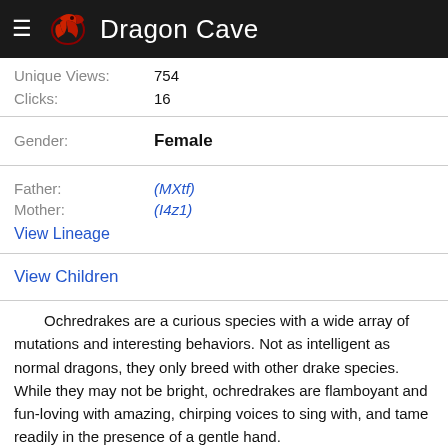Dragon Cave
Unique Views: 754
Clicks: 16
Gender: Female
Father: (MXtf)
Mother: (I4z1)
View Lineage
View Children
Ochredrakes are a curious species with a wide array of mutations and interesting behaviors. Not as intelligent as normal dragons, they only breed with other drake species. While they may not be bright, ochredrakes are flamboyant and fun-loving with amazing, chirping voices to sing with, and tame readily in the presence of a gentle hand.
Though it may appear at first that dragons and drakes have much in common, the two are completely separate species. Drakes are smaller and less intelligent than their cousin species, though both